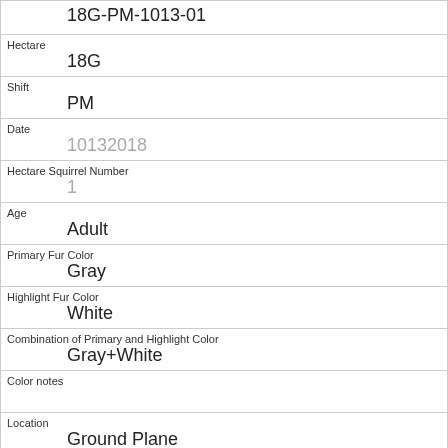| 18G-PM-1013-01 |
| Hectare | 18G |
| Shift | PM |
| Date | 10132018 |
| Hectare Squirrel Number | 1 |
| Age | Adult |
| Primary Fur Color | Gray |
| Highlight Fur Color | White |
| Combination of Primary and Highlight Color | Gray+White |
| Color notes |  |
| Location | Ground Plane |